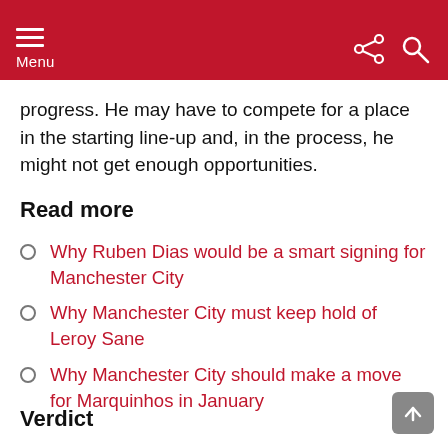Menu
progress. He may have to compete for a place in the starting line-up and, in the process, he might not get enough opportunities.
Read more
Why Ruben Dias would be a smart signing for Manchester City
Why Manchester City must keep hold of Leroy Sane
Why Manchester City should make a move for Marquinhos in January
Verdict